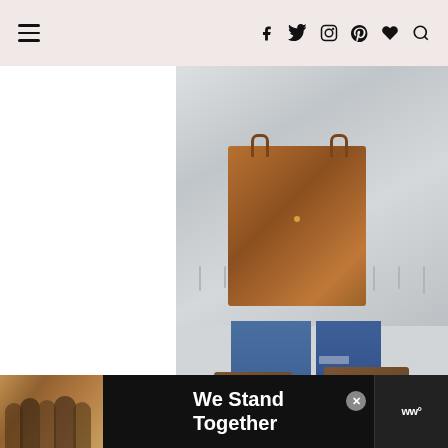Navigation header with hamburger menu and social icons (Facebook, Twitter, Instagram, Pinterest, heart, search)
[Figure (photo): Fashion blogger photo showing torso and legs: grey fringed poncho/cape, brown leather Tory Burch tote bag, ripped blue jeans, brown suede ankle boots. Outdoor pavement background.]
[Figure (photo): Split image: left side shows fashion blogger wearing tan/beige wide-brim hat and sunglasses against architectural background with black and white stripe pattern; right side shows product bottles (likely beauty/fragrance products) in olive/gold tones.]
[Figure (photo): Advertisement banner: dark background with group of people (diverse group seen from behind with arms around each other) and text 'We Stand Together' in white bold font, plus a logo on the right.]